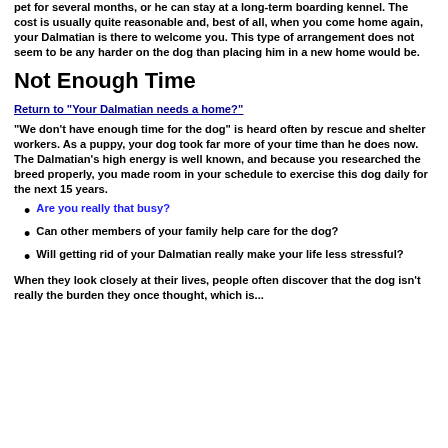pet for several months, or he can stay at a long-term boarding kennel. The cost is usually quite reasonable and, best of all, when you come home again, your Dalmatian is there to welcome you. This type of arrangement does not seem to be any harder on the dog than placing him in a new home would be.
Not Enough Time
Return to "Your Dalmatian needs a home?"
"We don't have enough time for the dog" is heard often by rescue and shelter workers. As a puppy, your dog took far more of your time than he does now. The Dalmatian's high energy is well known, and because you researched the breed properly, you made room in your schedule to exercise this dog daily for the next 15 years.
Are you really that busy?
Can other members of your family help care for the dog?
Will getting rid of your Dalmatian really make your life less stressful?
When they look closely at their lives, people often discover that the dog isn't really the burden they once thought, which is...